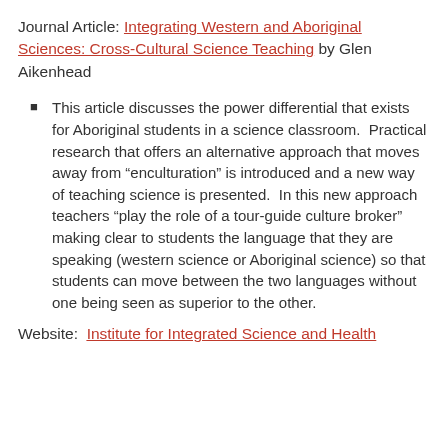Journal Article: Integrating Western and Aboriginal Sciences: Cross-Cultural Science Teaching by Glen Aikenhead
This article discusses the power differential that exists for Aboriginal students in a science classroom.  Practical research that offers an alternative approach that moves away from “enculturation” is introduced and a new way of teaching science is presented.  In this new approach teachers “play the role of a tour-guide culture broker” making clear to students the language that they are speaking (western science or Aboriginal science) so that students can move between the two languages without one being seen as superior to the other.
Website:  Institute for Integrated Science and Health